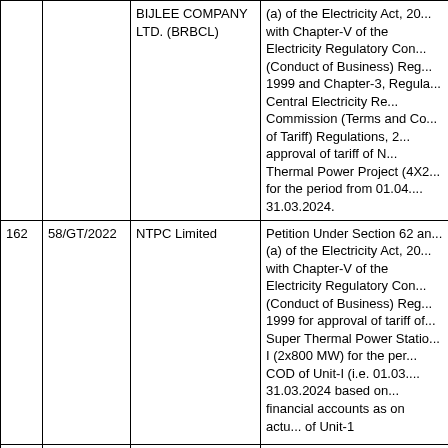| No. | Case No. | Party | Description |
| --- | --- | --- | --- |
|  |  | BIJLEE COMPANY LTD. (BRBCL) | (a) of the Electricity Act, 20... with Chapter-V of the Electricity Regulatory Com... (Conduct of Business) Reg... 1999 and Chapter-3, Regula... Central Electricity Re... Commission (Terms and Co... of Tariff) Regulations, 2... approval of tariff of N... Thermal Power Project (4X2... for the period from 01.04.... 31.03.2024. |
| 162 | 58/GT/2022 | NTPC Limited | Petition Under Section 62 ar... (a) of the Electricity Act, 20... with Chapter-V of the Electricity Regulatory Con... (Conduct of Business) Reg... 1999 for approval of tariff of... Super Thermal Power Statio... I (2x800 MW) for the per... COD of Unit-I (i.e. 01.03.... 31.03.2024 based on... financial accounts as on actu... of Unit-1 |
| 163 | 57/MP/2022 | HIMACHAL PRADESH POWER TRANSMISSION CORPORATION LTD. (HPPTCL) | Petition for inclusion of 220... Charor-Banala Transmissio... under PoC mechanism for... of Transmission charges... CERC(Sharing of In... Transmission Charges and... |